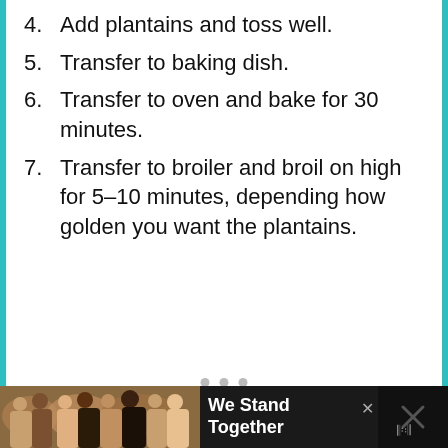4. Add plantains and toss well.
5. Transfer to baking dish.
6. Transfer to oven and bake for 30 minutes.
7. Transfer to broiler and broil on high for 5–10 minutes, depending how golden you want the plantains.
79